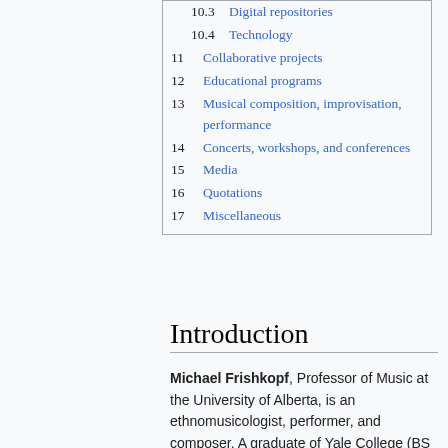10.3 Digital repositories
10.4 Technology
11 Collaborative projects
12 Educational programs
13 Musical composition, improvisation, performance
14 Concerts, workshops, and conferences
15 Media
16 Quotations
17 Miscellaneous
Introduction
Michael Frishkopf, Professor of Music at the University of Alberta, is an ethnomusicologist, performer, and composer. A graduate of Yale College (BS Mathematics, 1984), Tufts University (MA Ethnomusicology, 1989), and the